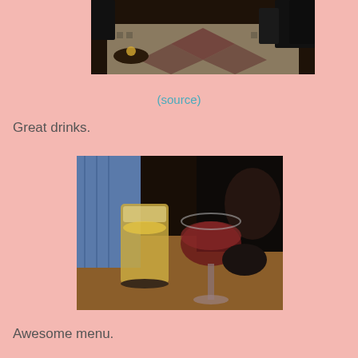[Figure (photo): Interior of a bar/restaurant showing patterned floor, chairs, and tables from above]
(source)
Great drinks.
[Figure (photo): Two drinks on a table: a pint glass of beer and a wine glass with red wine]
Awesome menu.